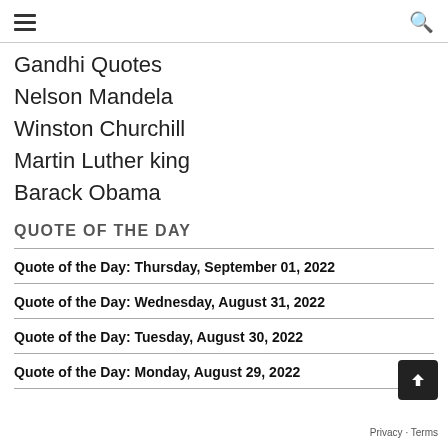≡  🔍
Gandhi Quotes
Nelson Mandela
Winston Churchill
Martin Luther king
Barack Obama
QUOTE OF THE DAY
Quote of the Day: Thursday, September 01, 2022
Quote of the Day: Wednesday, August 31, 2022
Quote of the Day: Tuesday, August 30, 2022
Quote of the Day: Monday, August 29, 2022